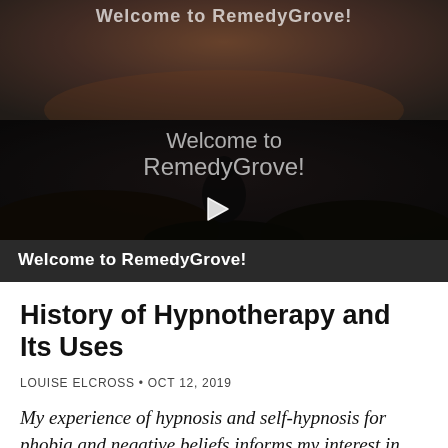[Figure (screenshot): Video thumbnail showing a person meditating on rocks by the sea at sunset, with text overlay 'Welcome to RemedyGrove!' and a play button in the center]
Welcome to RemedyGrove!
History of Hypnotherapy and Its Uses
LOUISE ELCROSS • OCT 12, 2019
My experience of hypnosis and self-hypnosis for phobia and negative beliefs informs my interest in